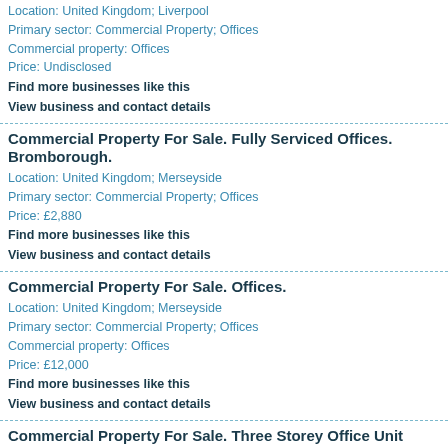Location: United Kingdom; Liverpool
Primary sector: Commercial Property; Offices
Commercial property: Offices
Price: Undisclosed
Find more businesses like this
View business and contact details
Commercial Property For Sale. Fully Serviced Offices. Bromborough.
Location: United Kingdom; Merseyside
Primary sector: Commercial Property; Offices
Price: £2,880
Find more businesses like this
View business and contact details
Commercial Property For Sale. Offices.
Location: United Kingdom; Merseyside
Primary sector: Commercial Property; Offices
Commercial property: Offices
Price: £12,000
Find more businesses like this
View business and contact details
Commercial Property For Sale. Three Storey Office Unit
Location: United Kingdom; Merseyside
Primary sector: Commercial Property; Offices
Price: £120,000
Find more businesses like this
View business and contact details
Commercial Property For Sale. Central City Office Suites - Serviced O
Here's a very tidy business, looking after other businesses! This serviced office business operating from its currentl location since 2002. The business hosts 12 physical offices o
Location: New Zealand; Wellington
Primary sector: Commercial Property; Offices
Price: $130,000
Find more businesses like this